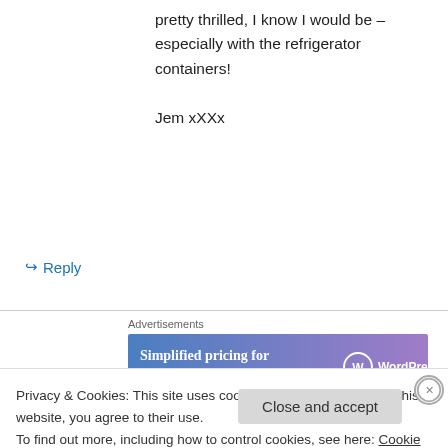pretty thrilled, I know I would be – especially with the refrigerator containers!

Jem xXXx
↳ Reply
Advertisements
[Figure (other): WordPress.com advertisement banner: 'Simplified pricing for everything you need.' with WordPress.com logo]
rkrobinson9 on September 6, 2011 at 6:18 pm
Privacy & Cookies: This site uses cookies. By continuing to use this website, you agree to their use.
To find out more, including how to control cookies, see here: Cookie Policy
Close and accept